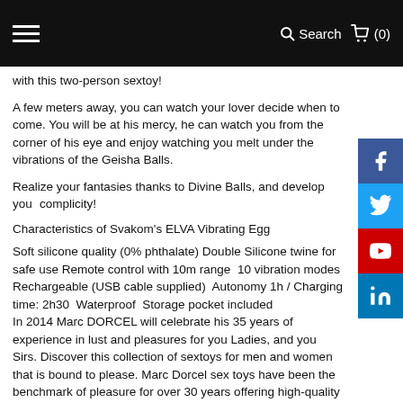☰  Search  🛒 (0)
with this two-person sextoy!
A few meters away, you can watch your lover decide when to come. You will be at his mercy, he can watch you from the corner of his eye and enjoy watching you melt under the vibrations of the Geisha Balls.
Realize your fantasies thanks to Divine Balls, and develop your complicity!
Characteristics of Svakom's ELVA Vibrating Egg
Soft silicone quality (0% phthalate) Double Silicone twine for safe use Remote control with 10m range  10 vibration modes  Rechargeable (USB cable supplied)  Autonomy 1h / Charging time: 2h30  Waterproof  Storage pocket included
In 2014 Marc DORCEL will celebrate his 35 years of experience in lust and pleasures for you Ladies, and you Sirs. Discover this collection of sextoys for men and women that is bound to please. Marc Dorcel sex toys have been the benchmark of pleasure for over 30 years offering high-quality designs with a wide range of exciting functions and shapes. Very popular